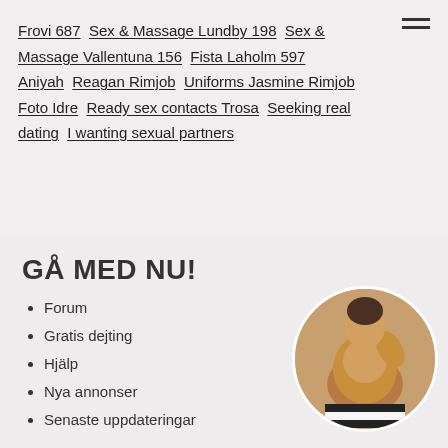Frovi 687  Sex & Massage Lundby 198  Sex & Massage Vallentuna 156  Fista Laholm 597  Aniyah  Reagan Rimjob  Uniforms Jasmine Rimjob  Foto Idre  Ready sex contacts Trosa  Seeking real dating  I wanting sexual partners
GÅ MED NU!
Forum
Gratis dejting
Hjälp
Nya annonser
Senaste uppdateringar
[Figure (photo): Circular cropped photo showing a person from behind, nude upper body, wearing striped fabric]